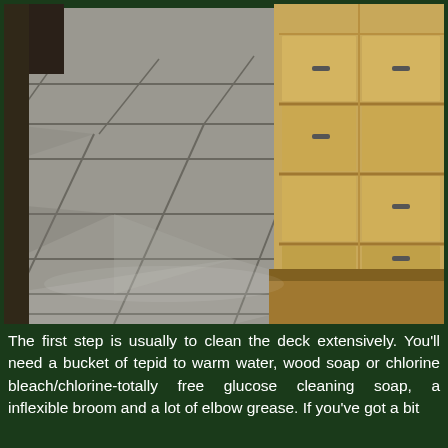[Figure (photo): Kitchen interior photo showing a gray/beige slate tile floor with grout lines, and light wood cabinetry with metal drawer pulls in the background.]
The first step is usually to clean the deck extensively. You'll need a bucket of tepid to warm water, wood soap or chlorine bleach/chlorine-totally free glucose cleaning soap, a inflexible broom and a lot of elbow grease. If you've got a bit